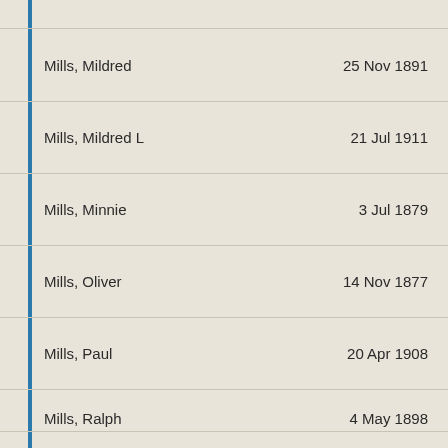Mills, Mildred    25 Nov 1891
Mills, Mildred L    21 Jul 1911
Mills, Minnie    3 Jul 1879
Mills, Oliver    14 Nov 1877
Mills, Paul    20 Apr 1908
Mills, Ralph    4 May 1898